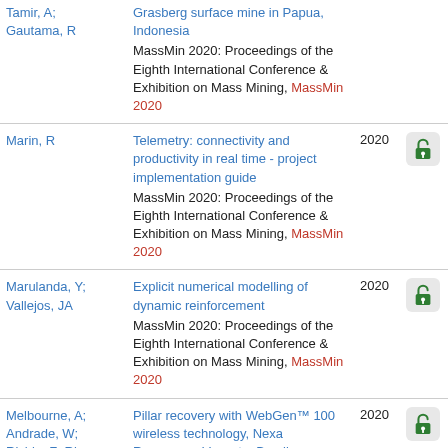| Author | Title / Journal | Year | OA |
| --- | --- | --- | --- |
| Tamir, A; Gautama, R | Grasberg surface mine in Papua, Indonesia
MassMin 2020: Proceedings of the Eighth International Conference & Exhibition on Mass Mining, MassMin 2020 |  |  |
| Marin, R | Telemetry: connectivity and productivity in real time - project implementation guide
MassMin 2020: Proceedings of the Eighth International Conference & Exhibition on Mass Mining, MassMin 2020 | 2020 | open access |
| Marulanda, Y; Vallejos, JA | Explicit numerical modelling of dynamic reinforcement
MassMin 2020: Proceedings of the Eighth International Conference & Exhibition on Mass Mining, MassMin 2020 | 2020 | open access |
| Melbourne, A; Andrade, W; Richie, F; Ri... | Pillar recovery with WebGen™ 100 wireless technology, Nexa Resources, Vazante, Brazil | 2020 | open access |